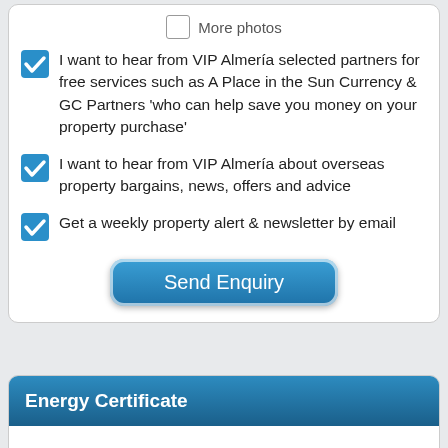I want to hear from VIP Almería selected partners for free services such as A Place in the Sun Currency & GC Partners 'who can help save you money on your property purchase'
I want to hear from VIP Almería about overseas property bargains, news, offers and advice
Get a weekly property alert & newsletter by email
[Figure (other): Send Enquiry button — rounded blue gradient button]
Energy Certificate
Energy Certificate Being Processed